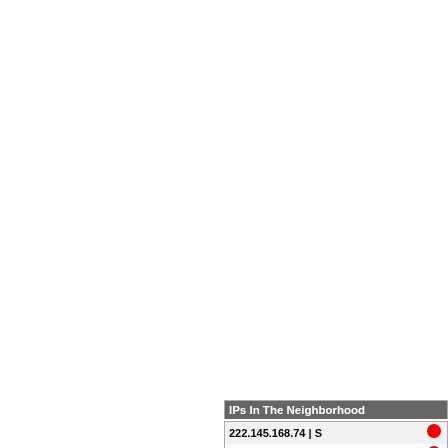| IP | Flag |
| --- | --- |
| 1.58.181.43 | S | CN |
| 1.58.181.85 | S | CN |
| 1.58.181.97 | SD | CN |
| 1.58.219.53 | S | CN |
| 1.58.224.30 | SD | CN |
| 1.58.224.192 | S | CN |
| 1.58.247.218 | S | CN |
| 1.59.74.218 | CN |
| 1.60.172.123 | SD | CN |
| 1.60.194.152 | S | CN |
| 1.60.215.159 | S | CN |
| 1.61.144.123 | CN |
| 1.62.22.231 | S | CN |
| 1.62.23.52 | S | CN |
| 1.62.50.171 | S | CN |
| 1.62.50.241 | SD | CN |
| 1.63.9.215 | CN |
| 1.80.131.126 | SD | CN |
IPs In The Neighborhood
| IP | Flag |
| --- | --- |
| 222.145.168.74 | S | JP |
| 222.145.168.88 | S | JP |
| 222.145.168.92 | S | JP |
| 222.145.168.105 | JP |
| 222.145.168.125 | S | JP |
| 222.145.168.129 | S | JP |
| 222.145.168.144 | JP |